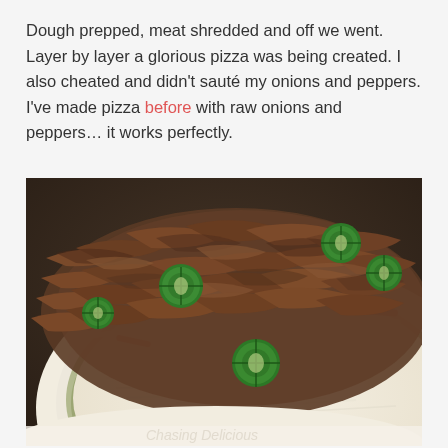Dough prepped, meat shredded and off we went. Layer by layer a glorious pizza was being created. I also cheated and didn't sauté my onions and peppers. I've made pizza before with raw onions and peppers… it works perfectly.
[Figure (photo): Close-up photo of an uncooked pizza topped with shredded meat (pulled beef/pork), sliced green jalapeños, red pepper strips, white onion slices, and shredded mozzarella cheese on a pizza dough base with green sauce visible underneath, on a dark stone surface.]